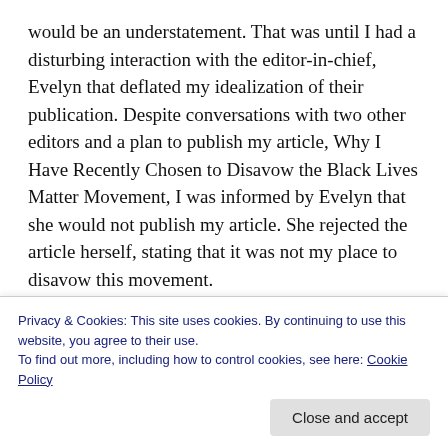would be an understatement. That was until I had a disturbing interaction with the editor-in-chief, Evelyn that deflated my idealization of their publication. Despite conversations with two other editors and a plan to publish my article, Why I Have Recently Chosen to Disavow the Black Lives Matter Movement, I was informed by Evelyn that she would not publish my article. She rejected the article herself, stating that it was not my place to disavow this movement.
Believing that this was possibly the result of being
Privacy & Cookies: This site uses cookies. By continuing to use this website, you agree to their use.
To find out more, including how to control cookies, see here: Cookie Policy
introspection and discussion with my peers